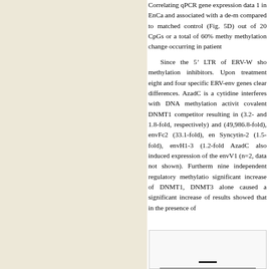Correlating qPCR gene expression data... 1 in EnCa and associated with a de-m... compared to matched control (Fig. 5D)... out of 20 CpGs or a total of 60% methy... methylation change occurring in patien...
Since the 5' LTR of ERV-W sho... methylation inhibitors. Upon treatment... eight and four specific ERV-env genes... clear differences. AzadC is a cytidine... interferes with DNA methylation activit... covalent DNMT1 competitor resulting i... (3.2- and 1.8-fold, respectively) and... (49,986.8-fold), envFc2 (33.1-fold), e... Syncytin-2 (1.5-fold), envH1-3 (1.2-fol... AzadC also induced expression of th... envV1 (n=2, data not shown). Further... nine independent regulatory methylati... significant increase of DNMT1, DNMT3... alone caused a significant increase o... results showed that in the presence of...
[Figure (other): Partial figure visible at bottom of page, showing a horizontal bar or line element against a light background.]